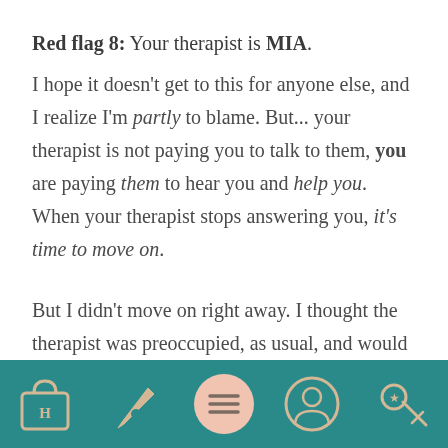Red flag 8: Your therapist is MIA.
I hope it doesn't get to this for anyone else, and I realize I'm partly to blame. But... your therapist is not paying you to talk to them, you are paying them to hear you and help you. When your therapist stops answering you, it's time to move on.
But I didn't move on right away. I thought the therapist was preoccupied, as usual, and would get to my text later. Days tu— weeks, weeks turned